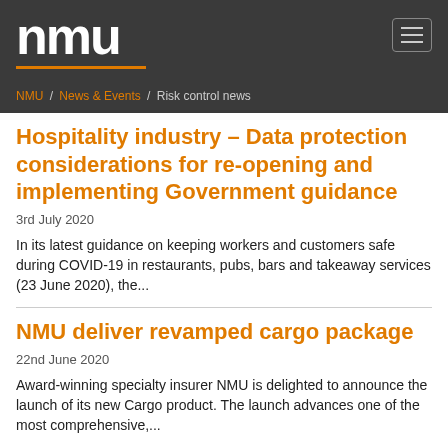nmu
NMU / News & Events / Risk control news
Hospitality industry – Data protection considerations for re-opening and implementing Government guidance
3rd July 2020
In its latest guidance on keeping workers and customers safe during COVID-19 in restaurants, pubs, bars and takeaway services (23 June 2020), the...
NMU deliver revamped cargo package
22nd June 2020
Award-winning specialty insurer NMU is delighted to announce the launch of its new Cargo product. The launch advances one of the most comprehensive,...